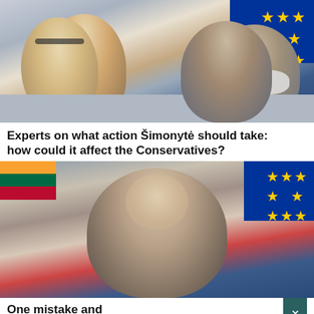[Figure (photo): Two people leaning toward each other in conversation, with EU flag in background]
Experts on what action Šimonytė should take: how could it affect the Conservatives?
[Figure (photo): Woman looking forward, with Lithuanian and EU flags in background]
One mistake and ratings and trust will plummet: political analysts warn two parties
[Figure (photo): People with hands raised in assembly or conference setting]